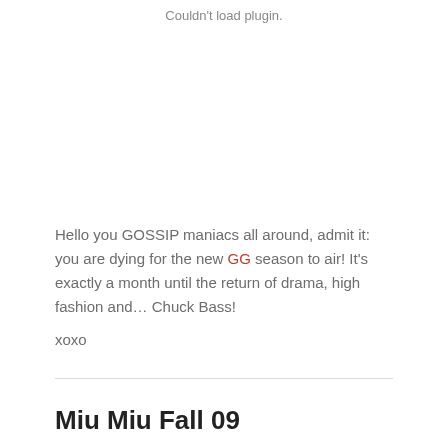Couldn't load plugin.
Hello you GOSSIP maniacs all around, admit it: you are dying for the new GG season to air! It's exactly a month until the return of drama, high fashion and… Chuck Bass!
xoxo
Miu Miu Fall 09
August 14, 2009 / 2 Comments